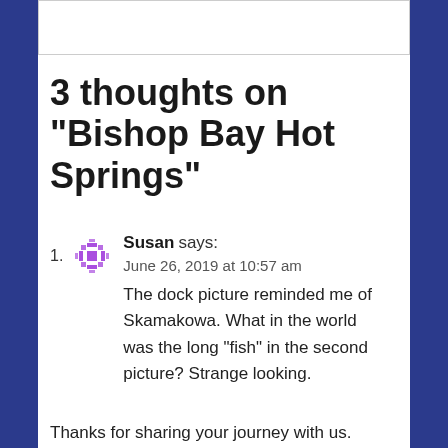[Figure (other): Partial image/photo visible at top of page, clipped]
3 thoughts on “Bishop Bay Hot Springs”
1. Susan says: June 26, 2019 at 10:57 am
The dock picture reminded me of Skamakowa. What in the world was the long “fish” in the second picture? Strange looking.
Thanks for sharing your journey with us.